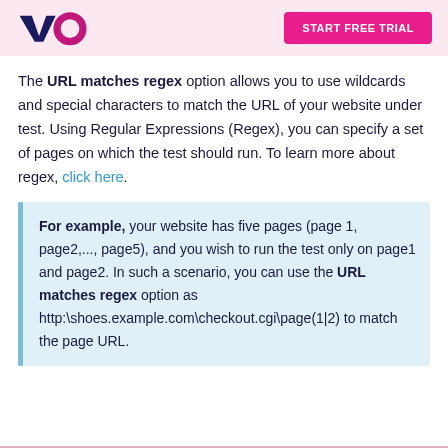VWO | START FREE TRIAL
The URL matches regex option allows you to use wildcards and special characters to match the URL of your website under test. Using Regular Expressions (Regex), you can specify a set of pages on which the test should run. To learn more about regex, click here.
For example, your website has five pages (page 1, page2,..., page5), and you wish to run the test only on page1 and page2. In such a scenario, you can use the URL matches regex option as http:\shoes.example.com\checkout.cgi\page(1|2) to match the page URL.